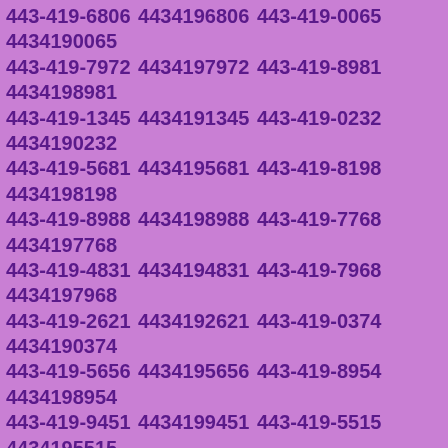443-419-6806 4434196806 443-419-0065 4434190065 443-419-7972 4434197972 443-419-8981 4434198981 443-419-1345 4434191345 443-419-0232 4434190232 443-419-5681 4434195681 443-419-8198 4434198198 443-419-8988 4434198988 443-419-7768 4434197768 443-419-4831 4434194831 443-419-7968 4434197968 443-419-2621 4434192621 443-419-0374 4434190374 443-419-5656 4434195656 443-419-8954 4434198954 443-419-9451 4434199451 443-419-5515 4434195515 443-419-0244 4434190244 443-419-1794 4434191794 443-419-3109 4434193109 443-419-1010 4434191010 443-419-0621 4434190621 443-419-9227 4434199227 443-419-4496 4434194496 443-419-2027 4434192027 443-419-6140 4434196140 443-419-8782 4434198782 443-419-9671 4434199671 443-419-6311 4434196311 443-419-5752 4434195752 443-419-3741 4434193741 443-419-8267 4434198267 443-419-2829 4434192829 443-419-4841 4434194841 443-419-0080 4434190080 443-419-9440 4434199440 443-419-5767 4434195767 443-419-7778 4434197778 443-419-2071 4434192071